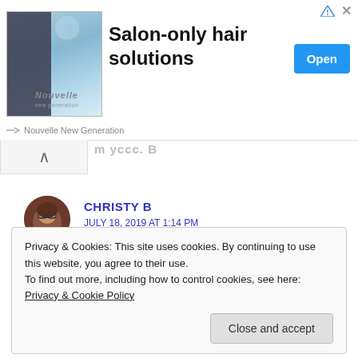[Figure (infographic): Advertisement banner for Nouvelle New Generation with image of hair product, text 'Salon-only hair solutions', and an 'Open' button]
:)
CHRISTY B
JULY 18, 2019 AT 1:14 PM
Privacy & Cookies: This site uses cookies. By continuing to use this website, you agree to their use.
To find out more, including how to control cookies, see here: Privacy & Cookie Policy
Close and accept